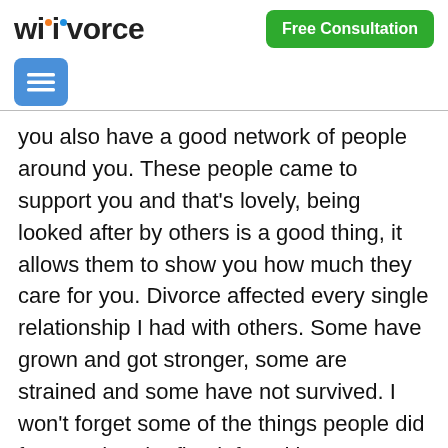wikivorce | Free Consultation
you also have a good network of people around you. These people came to support you and that's lovely, being looked after by others is a good thing, it allows them to show you how much they care for you. Divorce affected every single relationship I had with others. Some have grown and got stronger, some are strained and some have not survived. I won't forget some of the things people did for me when he first left and in my own way whenever it's needed I do what I can for those people. My kids saved me